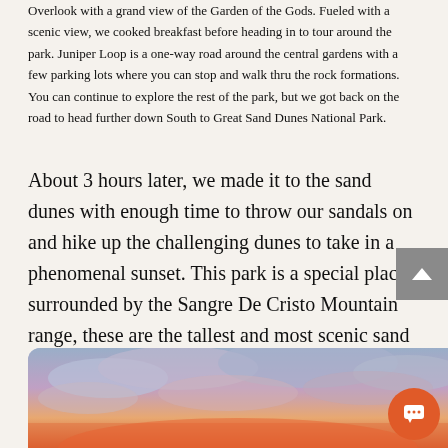Overlook with a grand view of the Garden of the Gods. Fueled with a scenic view, we cooked breakfast before heading in to tour around the park. Juniper Loop is a one-way road around the central gardens with a few parking lots where you can stop and walk thru the rock formations. You can continue to explore the rest of the park, but we got back on the road to head further down South to Great Sand Dunes National Park.
About 3 hours later, we made it to the sand dunes with enough time to throw our sandals on and hike up the challenging dunes to take in a phenomenal sunset. This park is a special place, surrounded by the Sangre De Cristo Mountain range, these are the tallest and most scenic sand dunes in the continent.
[Figure (photo): A sunset sky photograph showing dramatic clouds with orange, pink, and purple hues against a blue sky, taken at Great Sand Dunes National Park.]